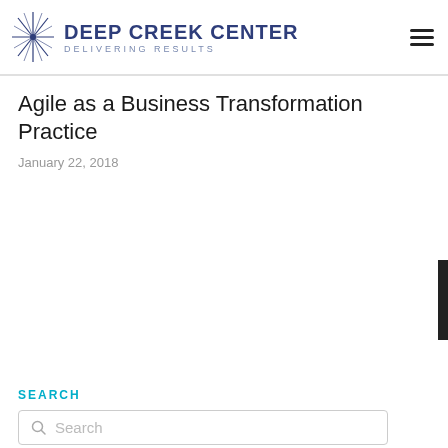DEEP CREEK CENTER — DELIVERING RESULTS
Agile as a Business Transformation Practice
January 22, 2018
SEARCH
POST CATEGORIES
Agile (7)
Business Analysis (?)